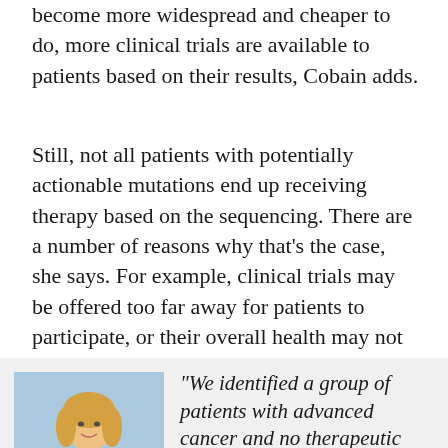become more widespread and cheaper to do, more clinical trials are available to patients based on their results, Cobain adds.
Still, not all patients with potentially actionable mutations end up receiving therapy based on the sequencing. There are a number of reasons why that's the case, she says. For example, clinical trials may be offered too far away for patients to participate, or their overall health may not be good enough for them to enroll.
[Figure (photo): Headshot of a blonde woman in a beige blazer smiling, against a light blue background.]
"We identified a group of patients with advanced cancer and no therapeutic